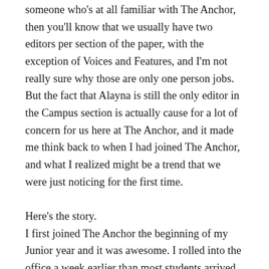someone who's at all familiar with The Anchor, then you'll know that we usually have two editors per section of the paper, with the exception of Voices and Features, and I'm not really sure why those are only one person jobs. But the fact that Alayna is still the only editor in the Campus section is actually cause for a lot of concern for us here at The Anchor, and it made me think back to when I had joined The Anchor, and what I realized might be a trend that we were just noticing for the first time.

Here's the story.
I first joined The Anchor the beginning of my Junior year and it was awesome. I rolled into the office a week earlier than most students arrived on campus and sat down next to a swimmer that looked like a grungier version of Liam Hemsworth. In front of me was a random girl from my Creative Writing class that had sent me an invite to join this group, a girl who was also in charge, but was in Africa for the summer so I